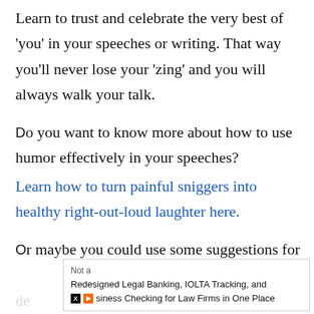Learn to trust and celebrate the very best of 'you' in your speeches or writing. That way you'll never lose your 'zing' and you will always walk your talk.
Do you want to know more about how to use humor effectively in your speeches?
Learn how to turn painful sniggers into healthy right-out-loud laughter here.
Or maybe you could use some suggestions for